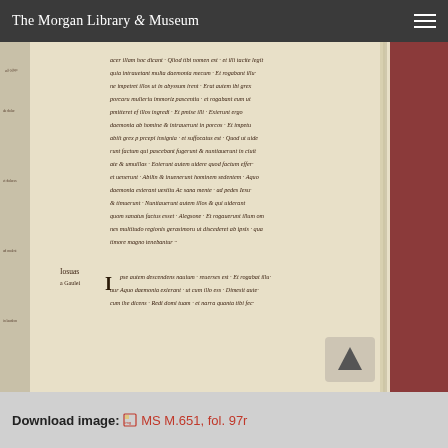The Morgan Library & Museum
[Figure (photo): Photograph of an open medieval manuscript (MS M.651, fol. 97r) showing handwritten Latin text in dark brown ink on cream/vellum pages. The manuscript is bound in red leather visible on the right edge. Marginal annotations appear on the left side of the page. The text is written in a medieval Gothic script.]
Download image: MS M.651, fol. 97r